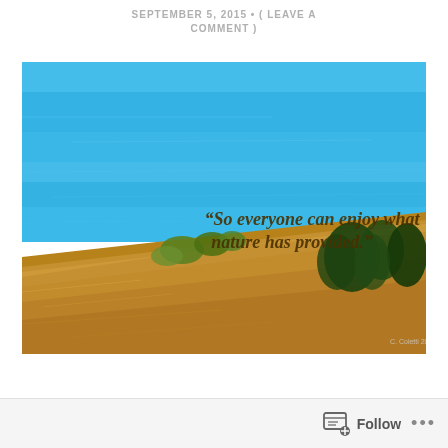SEPTEMBER 5, 2015 • ( LEAVE A COMMENT )
[Figure (photo): Coastal landscape photo showing a bright blue ocean/sea in the upper portion and a hillside covered with dry golden-brown grass in the lower portion, with some green shrubs along the dividing line. Overlaid italic bold text reads: "So everyone can enjoy what nature has provided." A small watermark reads C. Coletti 2015 in the bottom right corner.]
Follow